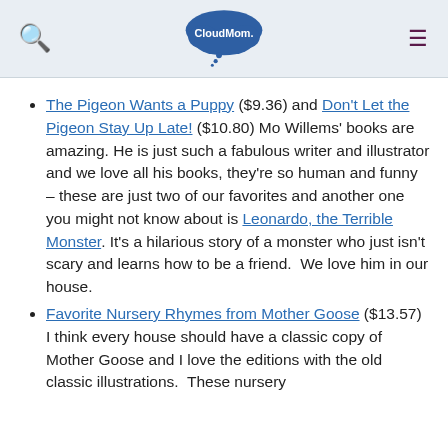CloudMom. [logo with search and hamburger menu]
The Pigeon Wants a Puppy ($9.36) and Don't Let the Pigeon Stay Up Late! ($10.80) Mo Willems' books are amazing. He is just such a fabulous writer and illustrator and we love all his books, they're so human and funny – these are just two of our favorites and another one you might not know about is Leonardo, the Terrible Monster. It's a hilarious story of a monster who just isn't scary and learns how to be a friend.  We love him in our house.
Favorite Nursery Rhymes from Mother Goose ($13.57) I think every house should have a classic copy of Mother Goose and I love the editions with the old classic illustrations.  These nursery rhymes...